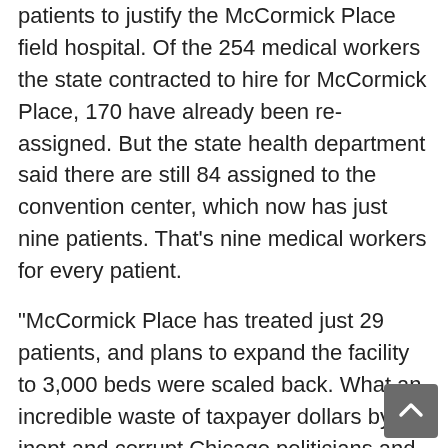patients to justify the McCormick Place field hospital. Of the 254 medical workers the state contracted to hire for McCormick Place, 170 have already been reassigned. But the state health department said there are still 84 assigned to the convention center, which now has just nine patients. That's nine medical workers for every patient.
"McCormick Place has treated just 29 patients, and plans to expand the facility to 3,000 beds were scaled back. What an incredible waste of taxpayer dollars by inept and corrupt Chicago politicians and bureaucrats!
"The state additionally spent $460,000 for 180 iPhones, which remain boxed.
An April 3 article in The Sun showed how reckless the boondoggles in Chicago had become, and how the situation has deteriorated into a bidding war.
"A Chicago hospital offered nurses $106,000 to work